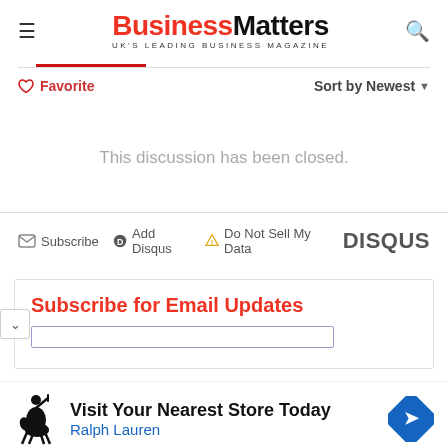Business Matters — UK'S LEADING BUSINESS MAGAZINE
Favorite  Sort by Newest
This discussion has been closed.
Subscribe  Add Disqus  Do Not Sell My Data  DISQUS
Subscribe for Email Updates
[Figure (infographic): Ralph Lauren polo player logo with text: Visit Your Nearest Store Today, Ralph Lauren, and a blue navigation diamond arrow icon.]